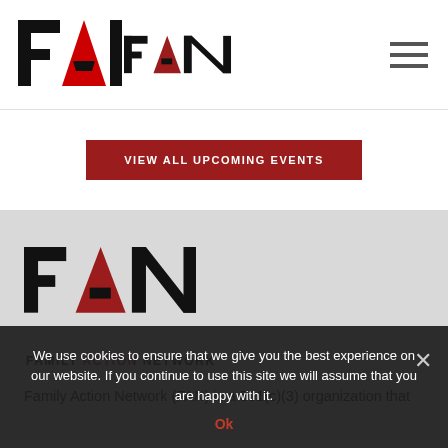[Figure (logo): FAN logo - black letters F and N with red letter A, top navigation bar]
VIEW ALL UPCOMING EVENTS
[Figure (logo): FAN - Family Action Network large logo on grey background. Black F and N, red A, with tagline FAMILY ACTION NETWORK below]
FAMILY ACTION NETWORK
Family Action Network (FAN) is a 501(c)(3) organization that
We use cookies to ensure that we give you the best experience on our website. If you continue to use this site we will assume that you are happy with it.
Ok